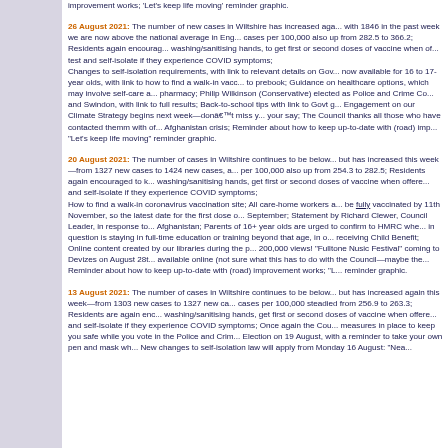improvement works; 'Let's keep life moving' reminder graphic.
26 August 2021: The number of new cases in Wiltshire has increased again, with 1846 in the past week we are now above the national average in England; cases per 100,000 also up from 282.5 to 366.2; Residents again encouraged to washing/sanitising hands, to get first or second doses of vaccine when offered, test and self-isolate if they experience COVID symptoms; Changes to self-isolation requirements, with link to relevant details on Gov.uk; now available for 16 to 17-year olds, with link to how to find a walk-in vaccination to prebook; Guidance on healthcare options, which may involve self-care and pharmacy; Philip Wilkinson (Conservative) elected as Police and Crime Commissioner for Wiltshire and Swindon, with link to full results; Back-to-school tips with link to Govt guidance; Engagement on our Climate Strategy begins next week—don't miss your chance to have your say; The Council thanks all those who have contacted themm with offers of help regarding the Afghanistan crisis; Reminder about how to keep up-to-date with (road) improvement works; "Let's keep life moving" reminder graphic.
20 August 2021: The number of cases in Wiltshire continues to be below the national average but has increased this week—from 1327 new cases to 1424 new cases, and cases per 100,000 also up from 254.3 to 282.5; Residents again encouraged to keep washing/sanitising hands, get first or second doses of vaccine when offered, test and self-isolate if they experience COVID symptoms; How to find a walk-in coronavirus vaccination site; All care-home workers are required to be fully vaccinated by 11th November, so the latest date for the first dose is 16th September; Statement by Richard Clewer, Council Leader, in response to events in Afghanistan; Parents of 16+ year olds are urged to confirm to HMRC whether their child in question is staying in full-time education or training beyond that age, in order to keep receiving Child Benefit; Online content created by our libraries during the pandemic has hit 200,000 views! "Fulltone Nusic Festival" coming to Devizes on August 28th (tickets available online (not sure what this has to do with the Council—maybe they are a venue); Reminder about how to keep up-to-date with (road) improvement works; "Let's keep life moving" reminder graphic.
13 August 2021: The number of cases in Wiltshire continues to be below the national average but has increased again this week—from 1303 new cases to 1327 new cases, and cases per 100,000 steadied from 256.9 to 263.3; Residents are again encouraged to keep washing/sanitising hands, get first or second doses of vaccine when offered, test and self-isolate if they experience COVID symptoms; Once again the Council has measures in place to keep you safe while you vote in the Police and Crime Commissioner Election on 19 August, with a reminder to take your own pen and mask when voting; New changes to self-isolation law will apply from Monday 16 August: "Nea...